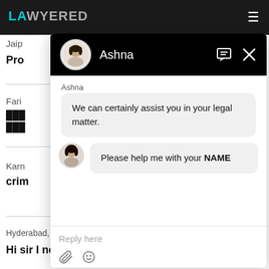LAWYERED
Jaip
Pro
Fari
हिंदी text (partial)
Karn
crim
Hyderabad,  13 Mar, 2022,  (5 months, 1 week ago)
Hi sir I need help
[Figure (screenshot): Chat popup window with header showing Ashna (avatar, name, message icon, close X). Chat body shows: sender label 'Ashna', system message bubble 'We can certainly assist you in your legal matter.', then user avatar with bubble 'Please help me with your NAME'. Reply area shows placeholder 'Reply here' and footer icons (paperclip, smiley).]